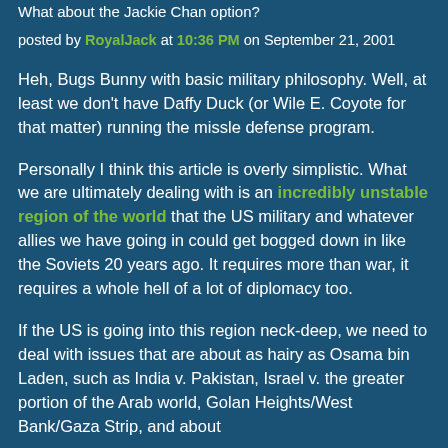What about the Jackie Chan option?
posted by RoyalJack at 10:36 PM on September 21, 2001
Heh, Bugs Bunny with basic military philosophy. Well, at least we don't have Daffy Duck (or Wile E. Coyote for that matter) running the missle defense program.
Personally I think this article is overly simplistic. What we are ultimately dealing with is an incredibly unstable region of the world that the US military and whatever allies we have going in could get bogged down in like the Soviets 20 years ago. It requires more than war, it requires a whole hell of a lot of diplomacy too.
If the US is going into this region neck-deep, we need to deal with issues that are about as hairy as Osama bin Laden, such as India v. Pakistan, Israel v. the greater portion of the Arab world, Golan Heights/West Bank/Gaza Strip, and about